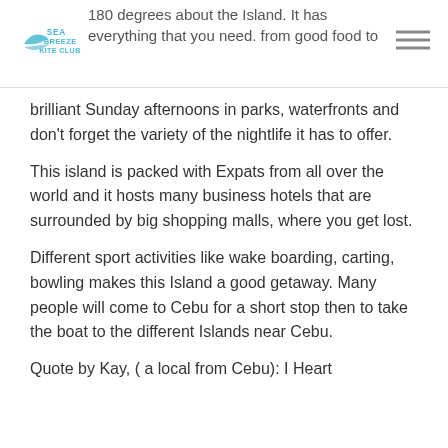180 degrees about the Island. It has everything that you need. from good food to
brilliant Sunday afternoons in parks, waterfronts and don't forget the variety of the nightlife it has to offer.
This island is packed with Expats from all over the world and it hosts many business hotels that are surrounded by big shopping malls, where you get lost.
Different sport activities like wake boarding, carting, bowling makes this Island a good getaway. Many people will come to Cebu for a short stop then to take the boat to the different Islands near Cebu.
Quote by Kay, ( a local from Cebu): I Heart